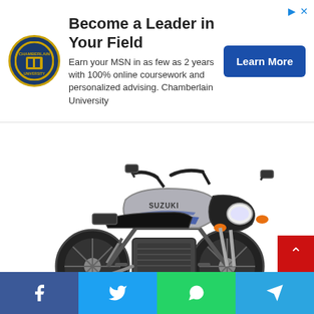[Figure (infographic): Advertisement banner for Chamberlain University MSN program with logo, text, and Learn More button]
[Figure (photo): Suzuki GS series motorcycle in silver/grey color with blue accents, shown in 3/4 front view on white background]
[Figure (infographic): Social sharing bar at bottom with Facebook, Twitter, WhatsApp, and Telegram buttons]